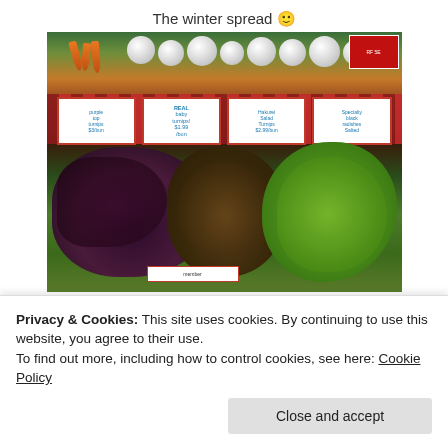The winter spread 🙂
[Figure (photo): Farmers market table display showing various winter vegetables including white turnips/onions at the top, red plaid tablecloth with handwritten price signs, and three types of lettuce heads (purple/dark, brown/red, and green) arranged across the front of the table. A small sign at the bottom center reads 'member'.]
Privacy & Cookies: This site uses cookies. By continuing to use this website, you agree to their use.
To find out more, including how to control cookies, see here: Cookie Policy
Close and accept